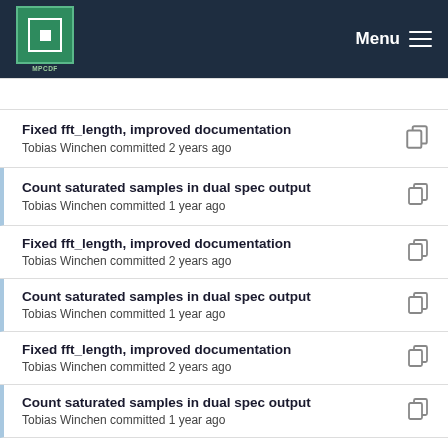MPCDF — Menu
Fixed fft_length, improved documentation
Tobias Winchen committed 2 years ago
Count saturated samples in dual spec output
Tobias Winchen committed 1 year ago
Fixed fft_length, improved documentation
Tobias Winchen committed 2 years ago
Count saturated samples in dual spec output
Tobias Winchen committed 1 year ago
Fixed fft_length, improved documentation
Tobias Winchen committed 2 years ago
Count saturated samples in dual spec output
Tobias Winchen committed 1 year ago